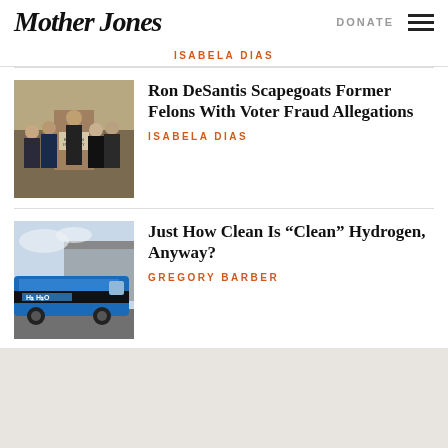Mother Jones | DONATE
ISABELA DIAS
[Figure (photo): Press conference with people standing at a podium with an 'Election Integrity' sign]
Ron DeSantis Scapegoats Former Felons With Voter Fraud Allegations
ISABELA DIAS
[Figure (photo): A blue hydrogen fuel cell bus parked near a building]
Just How Clean Is “Clean” Hydrogen, Anyway?
GREGORY BARBER